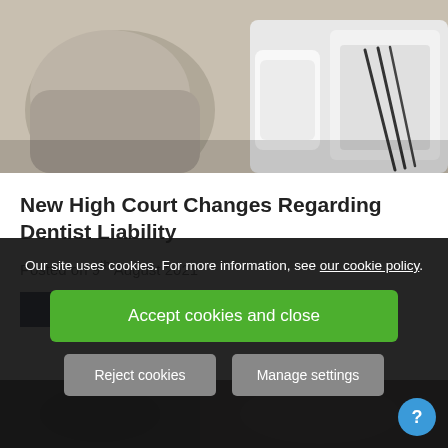[Figure (photo): Dental office photo showing a dental chair, dental tray with tools, and dental instrument kit in white/gray tones]
New High Court Changes Regarding Dentist Liability
Posted on 9th August 2021
READ MORE
[Figure (photo): Partial view of a second photo below the cookie banner, dark-toned image]
Our site uses cookies. For more information, see our cookie policy.
Accept cookies and close
Reject cookies
Manage settings